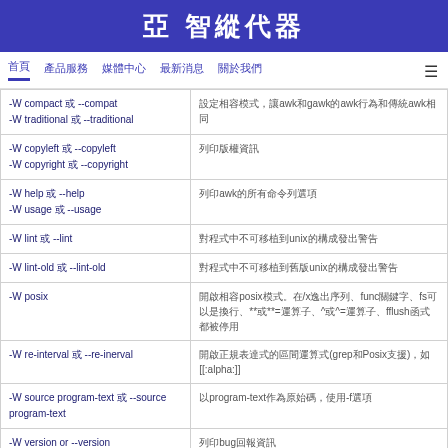亞 智縱代器
首頁　產品服務　媒體中心　最新消息　關於我們
| 命令 | 說明 |
| --- | --- |
| -W compact 或 --compat
-W traditional 或 --traditional | 設定相容模式，讓awk和gawk的awk行為和傳統awk相同 |
| -W copyleft 或 --copyleft
-W copyright 或 --copyright | 列印版權資訊 |
| -W help 或 --help
-W usage 或 --usage | 列印awk的所有命令列選項 |
| -W lint 或 --lint | 對程式中不可移植到unix的構成發出警告 |
| -W lint-old 或 --lint-old | 對程式中不可移植到舊版unix的構成發出警告 |
| -W posix | 開啟相容posix模式。在/x逸出序列、func關鍵字、fs可以是換行、**或**=運算子、^或^=運算子、fflush函式都被停用 |
| -W re-interval 或 --re-inerval | 開啟正規表達式的區間運算式(grep和Posix支援)，如[[:alpha:]] |
| -W source program-text 或 --source program-text | 以program-text作為原始碼，使用-f選項 |
| -W version or --version | 列印bug回報資訊 |